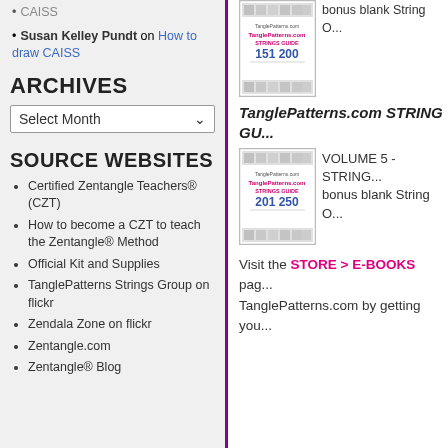CAISS
Susan Kelley Pundt on How to draw CAISS
ARCHIVES
Select Month
SOURCE WEBSITES
Certified Zentangle Teachers® (CZT)
How to become a CZT to teach the Zentangle® Method
Official Kit and Supplies
TanglePatterns Strings Group on flickr
Zendala Zone on flickr
Zentangle.com
Zentangle® Blog
bonus blank String O...
[Figure (illustration): TanglePatterns.com Strings Guide book cover volume 151-200]
TanglePatterns.com STRING GU...
VOLUME 5 - STRING... bonus blank String O...
[Figure (illustration): TanglePatterns.com Strings Guide book cover volume 201-250]
Visit the STORE > E-BOOKS page... TanglePatterns.com by getting you...